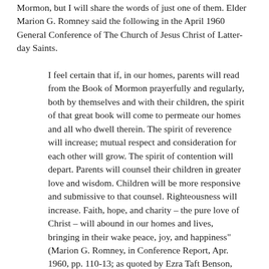Mormon, but I will share the words of just one of them. Elder Marion G. Romney said the following in the April 1960 General Conference of The Church of Jesus Christ of Latter-day Saints.
I feel certain that if, in our homes, parents will read from the Book of Mormon prayerfully and regularly, both by themselves and with their children, the spirit of that great book will come to permeate our homes and all who dwell therein. The spirit of reverence will increase; mutual respect and consideration for each other will grow. The spirit of contention will depart. Parents will counsel their children in greater love and wisdom. Children will be more responsive and submissive to that counsel. Righteousness will increase. Faith, hope, and charity – the pure love of Christ – will abound in our homes and lives, bringing in their wake peace, joy, and happiness" (Marion G. Romney, in Conference Report, Apr. 1960, pp. 110-13; as quoted by Ezra Taft Benson, “Cleansing the Inner Vessel,” Ensign, May 1986).